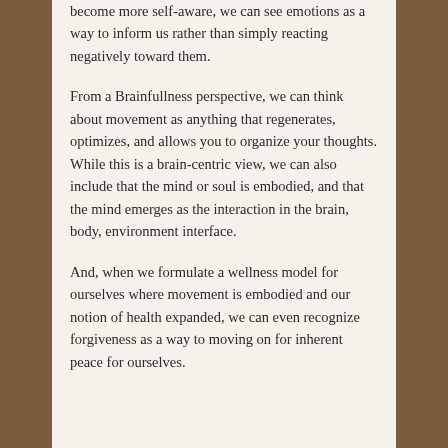become more self-aware, we can see emotions as a way to inform us rather than simply reacting negatively toward them.
From a Brainfullness perspective, we can think about movement as anything that regenerates, optimizes, and allows you to organize your thoughts. While this is a brain-centric view, we can also include that the mind or soul is embodied, and that the mind emerges as the interaction in the brain, body, environment interface.
And, when we formulate a wellness model for ourselves where movement is embodied and our notion of health expanded, we can even recognize forgiveness as a way to moving on for inherent peace for ourselves.